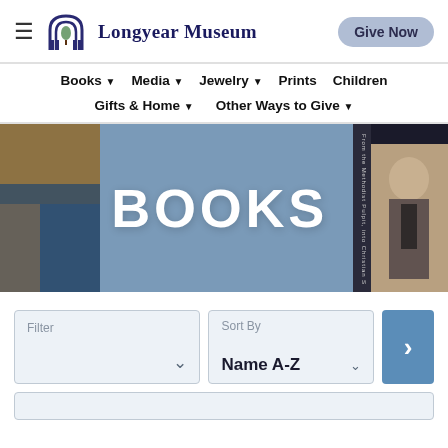Longyear Museum
Books  Media  Jewelry  Prints  Children  Gifts & Home  Other Ways to Give
[Figure (screenshot): Hero banner for the Books section of the Longyear Museum website, with blue-grey background, bold white text reading BOOKS, a book cover on the right featuring a portrait photo, and a painting on the left.]
BOOKS
Filter | Sort By Name A-Z